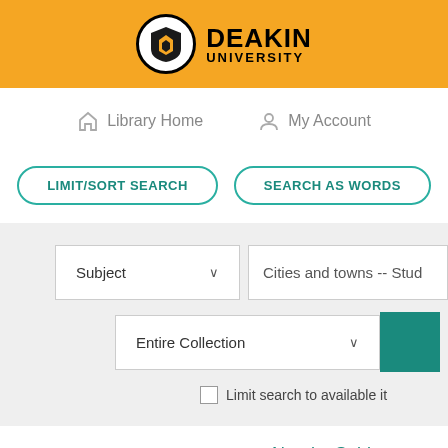[Figure (logo): Deakin University logo with shield icon on orange header bar]
Library Home   My Account
LIMIT/SORT SEARCH   SEARCH AS WORDS
Subject  |  Cities and towns -- Stud
Entire Collection
Limit search to available it
Nearby Subjects are: